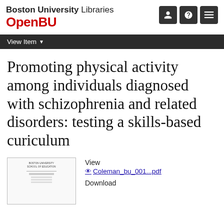Boston University Libraries OpenBU
View Item
Promoting physical activity among individuals diagnosed with schizophrenia and related disorders: testing a skills-based curiculum
[Figure (other): Thumbnail preview of a Boston University School of Education document]
View
Coleman_bu_001...pdf
Download